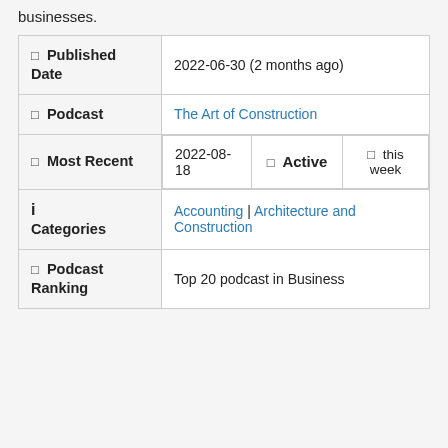businesses.
| Label | Value |
| --- | --- |
| Published Date | 2022-06-30 (2 months ago) |
| Podcast | The Art of Construction |
| Most Recent | 2022-08-18 | Active | this week |
| Categories | Accounting | Architecture and Construction |
| Podcast Ranking | Top 20 podcast in Business |